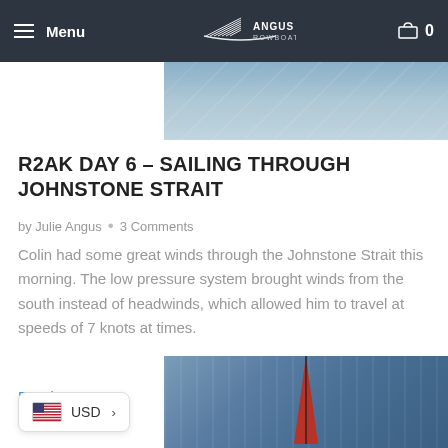Menu | Angus Rowboats | Cart 0
[Figure (photo): Aerial or water surface view, partially visible at top of page, blue-grey tones]
R2AK DAY 6 - SAILING THROUGH JOHNSTONE STRAIT
by Julie Angus • 3 Comments
Colin had some great winds through the Johnstone Strait this morning. The low pressure system brought winds from the south instead of headwinds, which allowed him to travel at speeds of 7 knots at times.
Read More ›
[Figure (photo): Sailing boat with red sail on sparkling water, partially visible at bottom of page]
USD